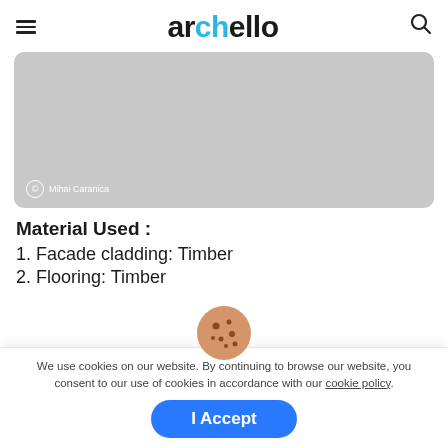archello
[Figure (photo): Gray placeholder image with copyright credit: © Mihai Caranica]
Material Used :
1. Facade cladding: Timber
2. Flooring: Timber
We use cookies on our website. By continuing to browse our website, you consent to our use of cookies in accordance with our cookie policy.
I Accept